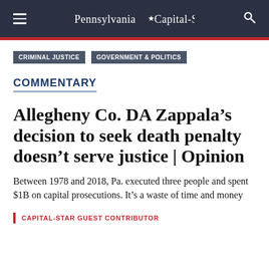Pennsylvania Capital-Star
CRIMINAL JUSTICE
GOVERNMENT & POLITICS
COMMENTARY
Allegheny Co. DA Zappala's decision to seek death penalty doesn't serve justice | Opinion
Between 1978 and 2018, Pa. executed three people and spent $1B on capital prosecutions. It's a waste of time and money
CAPITAL-STAR GUEST CONTRIBUTOR